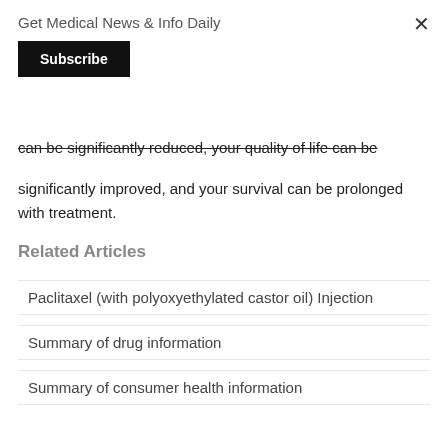Get Medical News & Info Daily
Subscribe
can be significantly reduced, your quality of life can be significantly improved, and your survival can be prolonged with treatment.
Related Articles
Paclitaxel (with polyoxyethylated castor oil) Injection
Summary of drug information
Summary of consumer health information